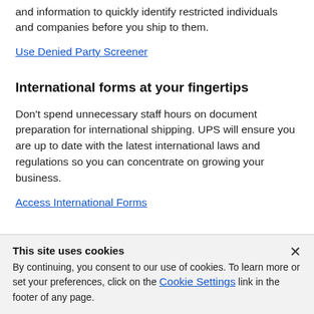Denied Party Screener, you can tap into OFAC expertise and information to quickly identify restricted individuals and companies before you ship to them.
Use Denied Party Screener
International forms at your fingertips
Don't spend unnecessary staff hours on document preparation for international shipping. UPS will ensure you are up to date with the latest international laws and regulations so you can concentrate on growing your business.
Access International Forms
This site uses cookies
By continuing, you consent to our use of cookies. To learn more or set your preferences, click on the Cookie Settings link in the footer of any page.